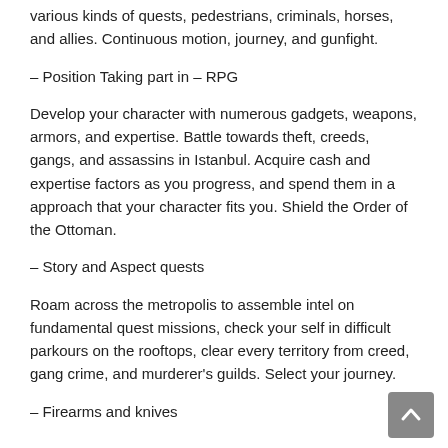various kinds of quests, pedestrians, criminals, horses, and allies. Continuous motion, journey, and gunfight.
– Position Taking part in – RPG
Develop your character with numerous gadgets, weapons, armors, and expertise. Battle towards theft, creeds, gangs, and assassins in Istanbul. Acquire cash and expertise factors as you progress, and spend them in a approach that your character fits you. Shield the Order of the Ottoman.
– Story and Aspect quests
Roam across the metropolis to assemble intel on fundamental quest missions, check your self in difficult parkours on the rooftops, clear every territory from creed, gang crime, and murderer's guilds. Select your journey.
– Firearms and knives